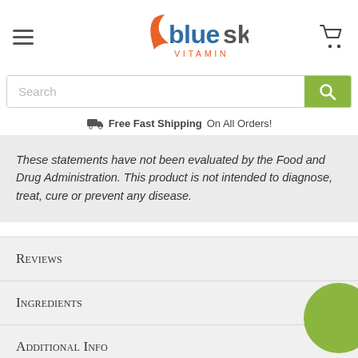[Figure (logo): Blue Sky Vitamin logo with orange swoosh and blue/orange text]
Search
Free Fast Shipping On All Orders!
These statements have not been evaluated by the Food and Drug Administration. This product is not intended to diagnose, treat, cure or prevent any disease.
Reviews
Ingredients
Additional Info